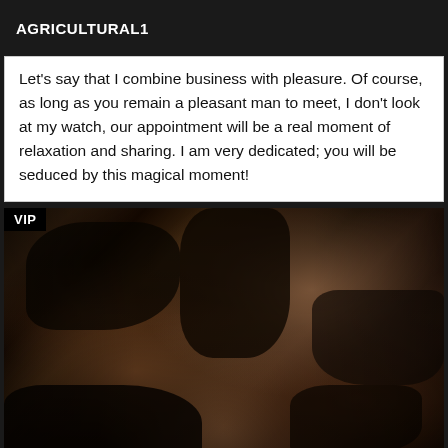AGRICULTURAL1
Let's say that I combine business with pleasure. Of course, as long as you remain a pleasant man to meet, I don't look at my watch, our appointment will be a real moment of relaxation and sharing. I am very dedicated; you will be seduced by this magical moment!
[Figure (photo): Photo of a person in dark lingerie with VIP badge overlay in top-left corner]